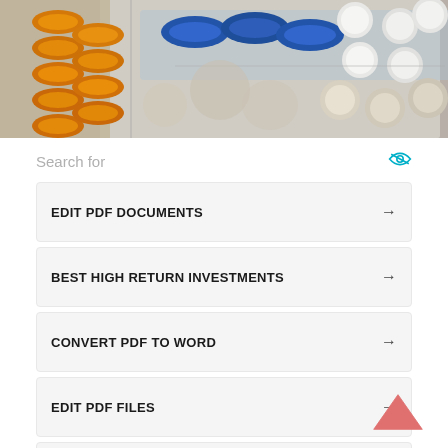[Figure (photo): Close-up photo of various blister packs of pills and capsules — orange/yellow capsules, blue capsules, white round tablets, and beige/gray tablets arranged on a surface.]
Search for
EDIT PDF DOCUMENTS →
BEST HIGH RETURN INVESTMENTS →
CONVERT PDF TO WORD →
EDIT PDF FILES →
TOP STOCKS TO BUY FOR →
Ad | Business Focus